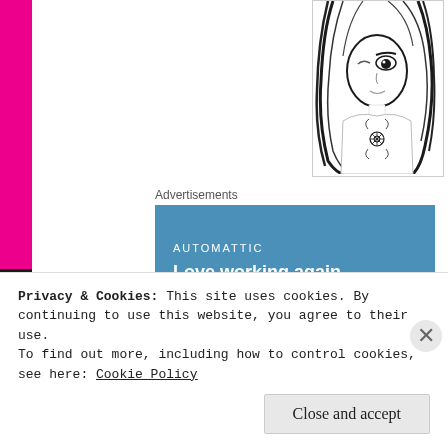[Figure (illustration): Black and white anime-style illustration of a young woman with long dark hair, visible eye, and floral tattoo on chest, top-right corner]
Advertisements
[Figure (infographic): Blue advertisement banner reading 'AUTOMATTIC / Love working again.']
REPORT THIS AD
I'd just like to see more of a general acceptance of yuri. Hopefully, by then it would no longer be a big deal if we get an anime season with several pure yuri shows and the gender of fictional characters that are in love won't an issue
Privacy & Cookies: This site uses cookies. By continuing to use this website, you agree to their use.
To find out more, including how to control cookies, see here: Cookie Policy
Close and accept